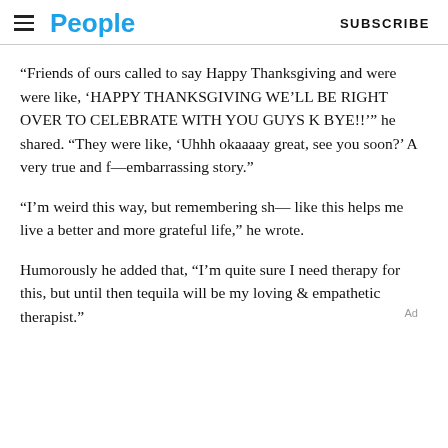People | SUBSCRIBE
“Friends of ours called to say Happy Thanksgiving and were were like, ‘HAPPY THANKSGIVING WE’LL BE RIGHT OVER TO CELEBRATE WITH YOU GUYS K BYE!!’” he shared. “They were like, ‘Uhhh okaaaay great, see you soon?’ A very true and f—embarrassing story.”
“I’m weird this way, but remembering sh— like this helps me live a better and more grateful life,” he wrote.
Humorously he added that, “I’m quite sure I need therapy for this, but until then tequila will be my loving & empathetic therapist.”